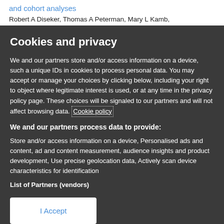and cohort analyses
Robert A Diseker, Thomas A Peterman, Mary L Kamb,
Cookies and privacy
We and our partners store and/or access information on a device, such a unique IDs in cookies to process personal data. You may accept or manage your choices by clicking below, including your right to object where legitimate interest is used, or at any time in the privacy policy page. These choices will be signaled to our partners and will not affect browsing data. Cookie policy
We and our partners process data to provide:
Store and/or access information on a device, Personalised ads and content, ad and content measurement, audience insights and product development, Use precise geolocation data, Actively scan device characteristics for identification
List of Partners (vendors)
I Accept